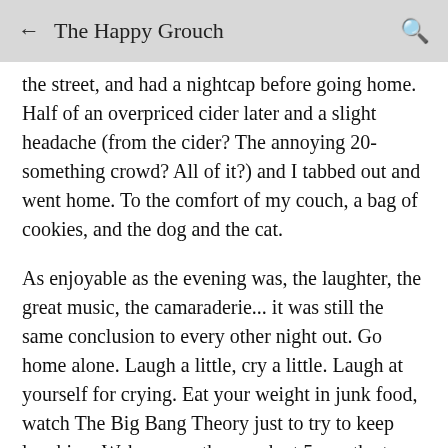← The Happy Grouch 🔍
the street, and had a nightcap before going home. Half of an overpriced cider later and a slight headache (from the cider? The annoying 20-something crowd? All of it?) and I tabbed out and went home. To the comfort of my couch, a bag of cookies, and the dog and the cat.
As enjoyable as the evening was, the laughter, the great music, the camaraderie... it was still the same conclusion to every other night out. Go home alone. Laugh a little, cry a little. Laugh at yourself for crying. Eat your weight in junk food, watch The Big Bang Theory just to try to keep laughing. Wake up on the couch at 5 am, the tv and all the lights still on, an empty bag of cookies in your hand, and the cat enjoying the buffet of